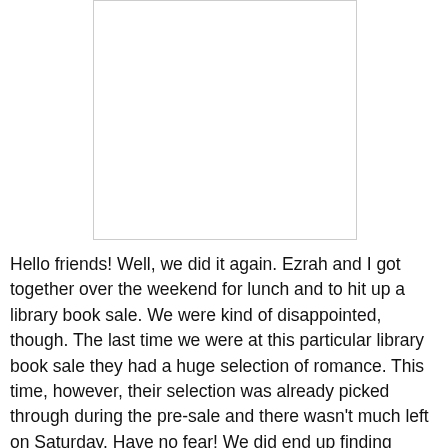[Figure (photo): White/blank rectangular image area with a light gray border]
Hello friends! Well, we did it again. Ezrah and I got together over the weekend for lunch and to hit up a library book sale. We were kind of disappointed, though. The last time we were at this particular library book sale they had a huge selection of romance. This time, however, their selection was already picked through during the pre-sale and there wasn't much left on Saturday. Have no fear! We did end up finding some books and this time Ezrah brought home more books then